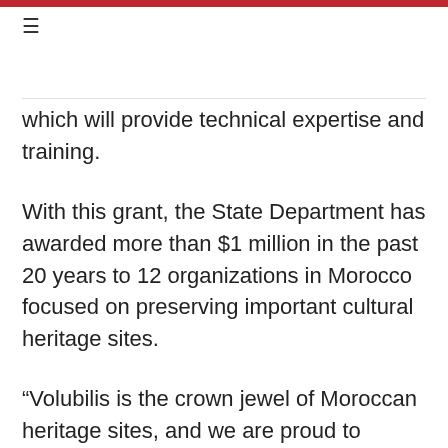≡
which will provide technical expertise and training.
With this grant, the State Department has awarded more than $1 million in the past 20 years to 12 organizations in Morocco focused on preserving important cultural heritage sites.
“Volubilis is the crown jewel of Moroccan heritage sites, and we are proud to partner with the Ifker Association, the Getty Conservation Institute and the Ministry of Culture to help restore these historic mosaics and support jobs training, and educational and outreach programs for the local community,” said U.S. Embassy Chargé d’Affaires Lawrence Randolph. “As we celebrate the bicentennial of the Tangier Legation this year – our first diplomatic mission in Morocco – and 200 years of friendship between